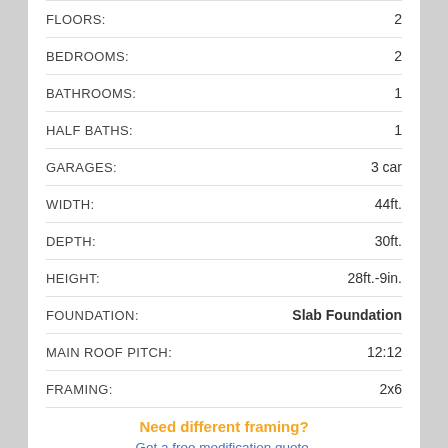| Specification | Value |
| --- | --- |
| FLOORS: | 2 |
| BEDROOMS: | 2 |
| BATHROOMS: | 1 |
| HALF BATHS: | 1 |
| GARAGES: | 3 car |
| WIDTH: | 44ft. |
| DEPTH: | 30ft. |
| HEIGHT: | 28ft.-9in. |
| FOUNDATION: | Slab Foundation |
| MAIN ROOF PITCH: | 12:12 |
| FRAMING: | 2x6 |
Need different framing?
Get a free modification quote.
CEILING HEIGHTS